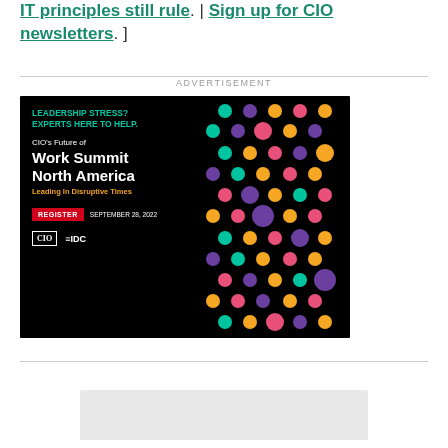IT principles still rule. | Sign up for CIO newsletters. ]
ADVERTISEMENT
[Figure (illustration): CIO's Future of Work Summit North America advertisement banner. Black background with colorful dots pattern on the right side. Text: LEADERSHIP STRESS? EXPERTS HERE TO HELP. CIO's Future of Work Summit North America. Leading In Disruptive Times. REGISTER SEPTEMBER 28, 2022. CIO | IDC logos.]